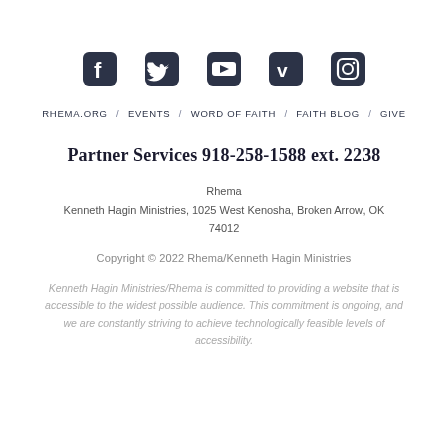[Figure (illustration): Row of five social media icons: Facebook, Twitter, YouTube, Vimeo, Instagram, rendered as dark rounded square icons]
RHEMA.ORG / EVENTS / WORD OF FAITH / FAITH BLOG / GIVE
Partner Services 918-258-1588 ext. 2238
Rhema
Kenneth Hagin Ministries, 1025 West Kenosha, Broken Arrow, OK 74012
Copyright © 2022 Rhema/Kenneth Hagin Ministries
Kenneth Hagin Ministries/Rhema is committed to providing a website that is accessible to the widest possible audience. This commitment is ongoing, and we are constantly striving to achieve technologically feasible levels of accessibility.